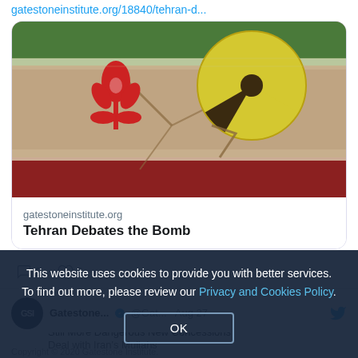gatestoneinstitute.org/18840/tehran-d...
[Figure (photo): Article card preview image showing Iranian flag with nuclear radiation symbol on cracked stone background]
gatestoneinstitute.org
Tehran Debates the Bomb
2  6
Gatestone...  @Gat...  · Aug 27
Still More Dangerous New Concessions
Deal with Iran's Mullahs
This website uses cookies to provide you with better services. To find out more, please review our Privacy and Cookies Policy.
OK
Copyright © 2020 Gatestone Institute.